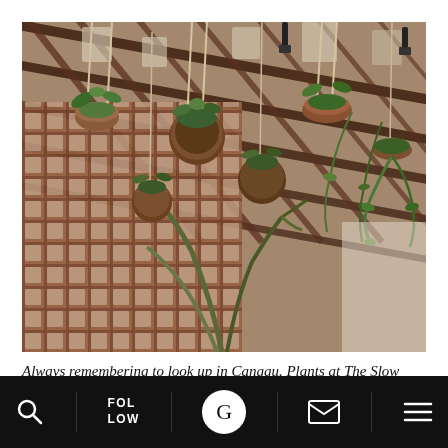[Figure (photo): Interior photo of a restaurant or cafe pergola in Canggu, showing hanging plants in woven and macrame baskets suspended from a wooden lattice ceiling structure. Abundant tropical green plants hanging from above. A brick lattice wall is visible in the background.]
Always remembering to look up in Canggu. Plants at The Slow on point!